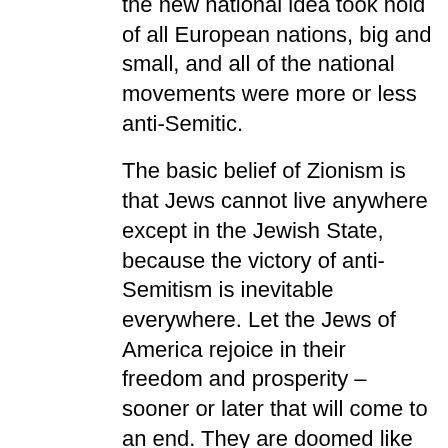the new national idea took hold of all European nations, big and small, and all of the national movements were more or less anti-Semitic.
The basic belief of Zionism is that Jews cannot live anywhere except in the Jewish State, because the victory of anti-Semitism is inevitable everywhere. Let the Jews of America rejoice in their freedom and prosperity – sooner or later that will come to an end. They are doomed like Jews everywhere outside Israel.
The new outrage in Paris only confirms this basic belief. There was very little real commiseration in Israel. Rather, a secret sense of triumph. The gut reaction of ordinary Israelis is: "We told